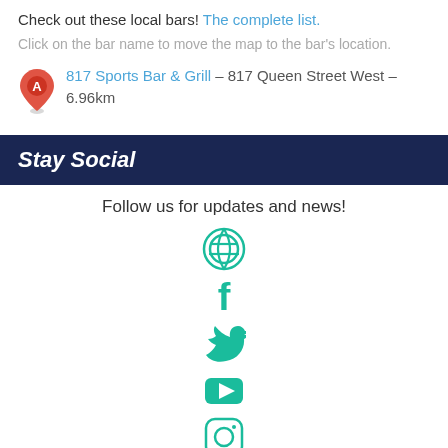Check out these local bars! The complete list.
Click on the bar name to move the map to the bar's location.
817 Sports Bar & Grill – 817 Queen Street West – 6.96km
Stay Social
Follow us for updates and news!
[Figure (illustration): Social media icons: WordPress, Facebook, Twitter, YouTube, Instagram, LinkedIn]